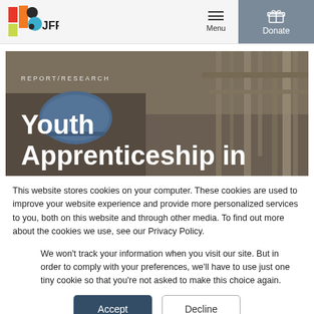[Figure (logo): JFF logo with colorful geometric shapes and JFF text]
[Figure (photo): Hero image showing industrial/apprenticeship scene with a worker wearing a blue hard hat and metal components overhead, with text overlay reading REPORT/RESEARCH and Youth Apprenticeship in]
This website stores cookies on your computer. These cookies are used to improve your website experience and provide more personalized services to you, both on this website and through other media. To find out more about the cookies we use, see our Privacy Policy.
We won't track your information when you visit our site. But in order to comply with your preferences, we'll have to use just one tiny cookie so that you're not asked to make this choice again.